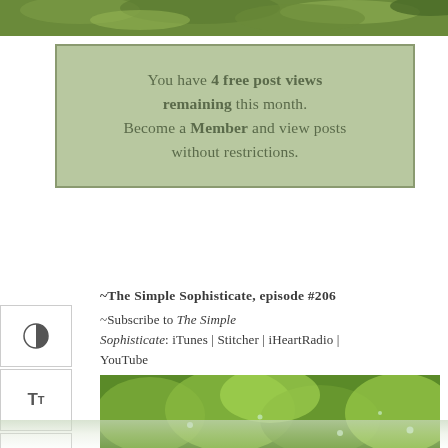[Figure (photo): Top strip showing green leafy plants/herbs from above]
You have 4 free post views remaining this month. Become a Member and view posts without restrictions.
~The Simple Sophisticate, episode #206
~Subscribe to The Simple Sophisticate: iTunes | Stitcher | iHeartRadio | YouTube
[Figure (photo): Green hosta leaves with water droplets, viewed close up]